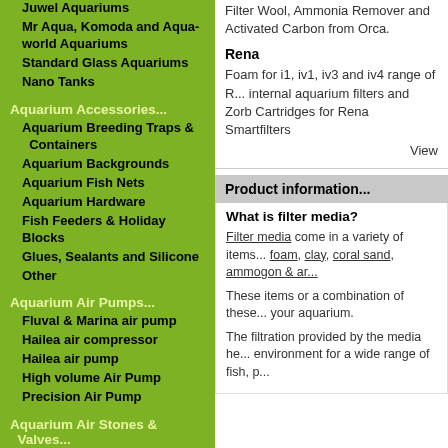Juwel Aquariums
Mr Aqua, Komoda and Aqua-world Aquariums
Standard Glass Aquariums
Nano Tanks
Aquarium Accessories...
Aquarium Breeding Traps & Containers
Aquarium Backgrounds
Aquarium Fish Nets
Aquarium Hardware
Fish Feeders & Holiday Blocks
Glues, Sealants and Silicone
Other
Aquarium Air Pumps...
Fluval & Marina air pump
Hailea air compressor
Hailea air pump
High volume Air Pump
Precision Air Pump
Aquarium Air Stones & Valves...
Air Stones
Airline Tubing, Valves & Air Kits
Aquarium Cleaning & Maintenance...
Filter Wool, Ammonia Remover and Activated Carbon from Orca.
Rena
Foam for i1, iv1, iv3 and iv4 range of R... internal aquarium filters and Zorb Cartridges for Rena Smartfilters
View
Product information...
What is filter media?
Filter media come in a variety of items... foam, clay, coral sand, ammogon & ar...
These items or a combination of these... your aquarium.
The filtration provided by the media he... environment for a wide range of fish, p...